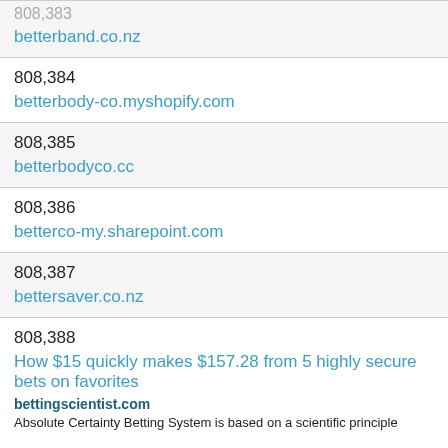| 808,383 (partial) | betterband.co.nz |
| 808,384 | betterbody-co.myshopify.com |
| 808,385 | betterbodyco.cc |
| 808,386 | betterco-my.sharepoint.com |
| 808,387 | bettersaver.co.nz |
| 808,388 | How $15 quickly makes $157.28 from 5 highly secure bets on favorites | bettingscientist.com | Absolute Certainty Betting System is based on a scientific principle |